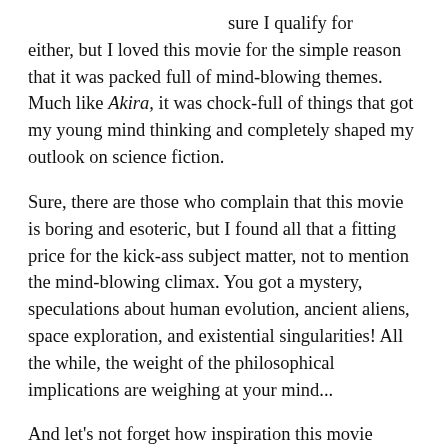sure I qualify for either, but I loved this movie for the simple reason that it was packed full of mind-blowing themes. Much like Akira, it was chock-full of things that got my young mind thinking and completely shaped my outlook on science fiction.
Sure, there are those who complain that this movie is boring and esoteric, but I found all that a fitting price for the kick-ass subject matter, not to mention the mind-blowing climax. You got a mystery, speculations about human evolution, ancient aliens, space exploration, and existential singularities! All the while, the weight of the philosophical implications are weighing at your mind...
And let's not forget how inspiration this movie